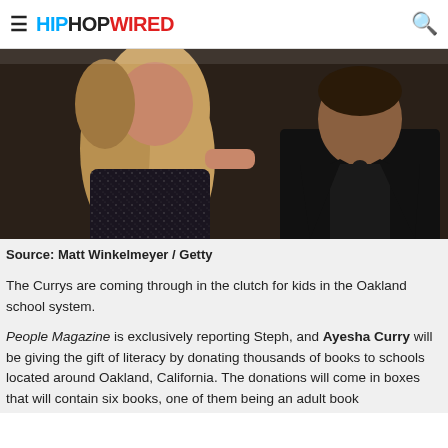HIPHOPWIRED
[Figure (photo): Photo of Ayesha Curry and Steph Curry at a red carpet event. Ayesha is wearing a sparkly dark dress with long wavy hair. Steph is wearing a black suit with a bow tie.]
Source: Matt Winkelmeyer / Getty
The Currys are coming through in the clutch for kids in the Oakland school system.
People Magazine is exclusively reporting Steph, and Ayesha Curry will be giving the gift of literacy by donating thousands of books to schools located around Oakland, California. The donations will come in boxes that will contain six books, one of them being an adult book